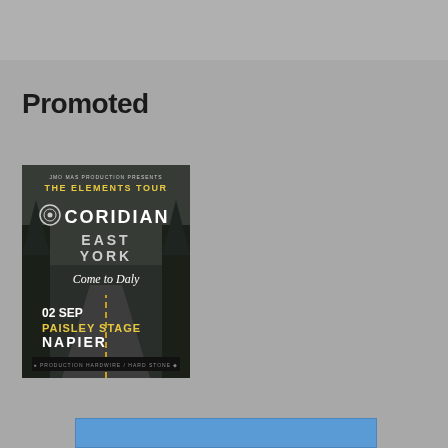[Figure (other): Gray top banner bar]
Promoted
[Figure (illustration): Concert poster for The Elements Tour featuring Coridian, East York, Come to Daly. Date: 02 Sep, Paisley Stage, Napier.]
[Figure (other): Blue banner/card at bottom of page]